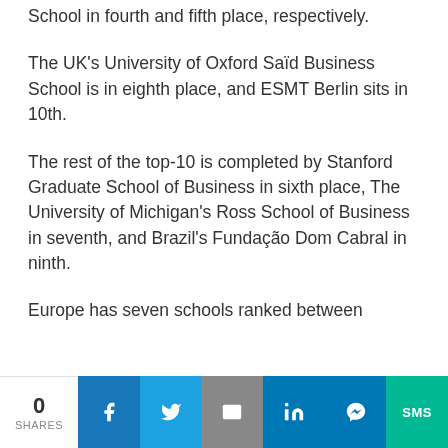School in fourth and fifth place, respectively.
The UK's University of Oxford Saïd Business School is in eighth place, and ESMT Berlin sits in 10th.
The rest of the top-10 is completed by Stanford Graduate School of Business in sixth place, The University of Michigan's Ross School of Business in seventh, and Brazil's Fundação Dom Cabral in ninth.
Europe has seven schools ranked between
0 SHARES